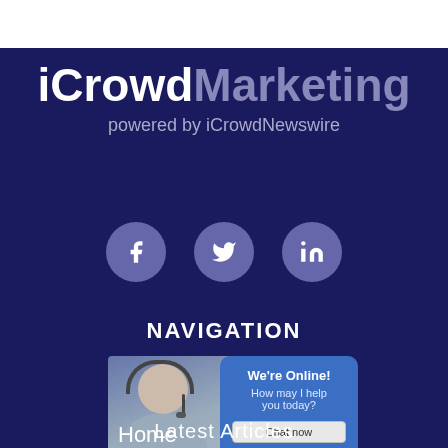iCrowdMarketing powered by iCrowdNewswire
[Figure (illustration): Social media icons: Facebook, Twitter, LinkedIn in purple circles]
NAVIGATION
[Figure (photo): Customer service representative with headset, and a chat widget overlay saying 'We're Online! How may I help you today?' with a 'Chat now' button]
Home
Latest Articles